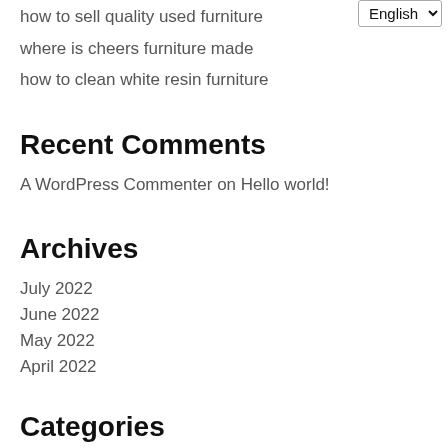how to sell quality used furniture
where is cheers furniture made
how to clean white resin furniture
Recent Comments
A WordPress Commenter on Hello world!
Archives
July 2022
June 2022
May 2022
April 2022
Categories